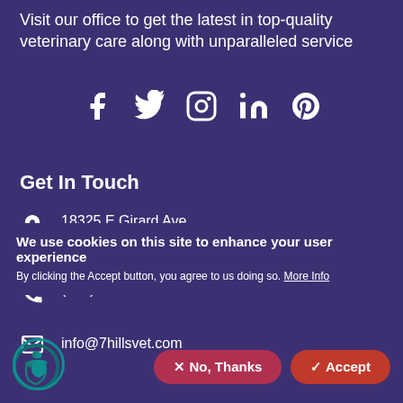Visit our office to get the latest in top-quality veterinary care along with unparalleled service
[Figure (illustration): Social media icons: Facebook, Twitter, Instagram, LinkedIn, Pinterest]
Get In Touch
18325 E Girard Ave Aurora , CO 80013
(303) 625-9266
info@7hillsvet.com
We use cookies on this site to enhance your user experience
By clicking the Accept button, you agree to us doing so. More Info